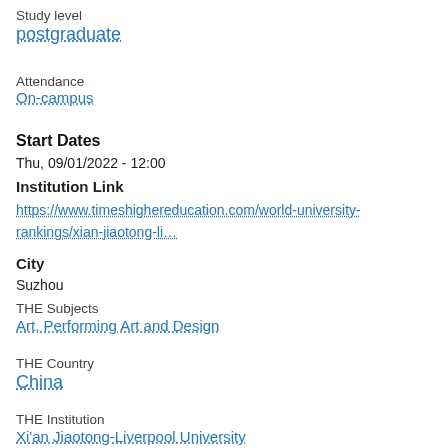Study level
postgraduate
Attendance
On-campus
Start Dates
Thu, 09/01/2022 - 12:00
Institution Link
https://www.timeshighereducation.com/world-university-rankings/xian-jiaotong-li…
City
Suzhou
THE Subjects
Art, Performing Art and Design
THE Country
China
THE Institution
Xi'an Jiaotong-Liverpool University